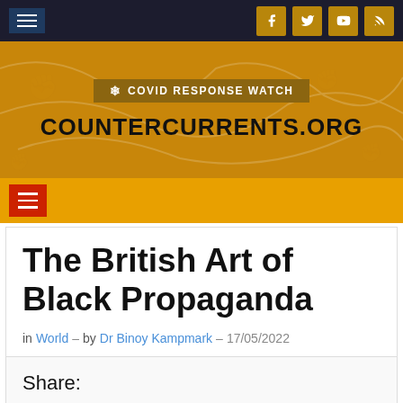[Figure (screenshot): Top navigation bar with dark blue background, hamburger menu icon on left, and social media icons (Facebook, Twitter, YouTube, RSS feed) on right in gold/brown squares]
[Figure (screenshot): CounterCurrents.org website banner with gold/amber background showing site logo, decorative background art, and COVID Response Watch badge]
[Figure (screenshot): Yellow menu bar with red hamburger menu button on left]
The British Art of Black Propaganda
in World – by Dr Binoy Kampmark – 17/05/2022
Share: